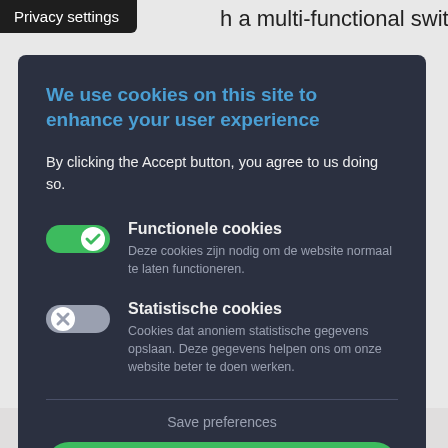h a multi-functional switch allows
Privacy settings
We use cookies on this site to enhance your user experience
By clicking the Accept button, you agree to us doing so.
Functionele cookies
Deze cookies zijn nodig om de website normaal te laten functioneren.
Statistische cookies
Cookies dat anoniem statistische gegevens opslaan. Deze gegevens helpen ons om onze website beter te doen werken.
Save preferences
Accept all cookies